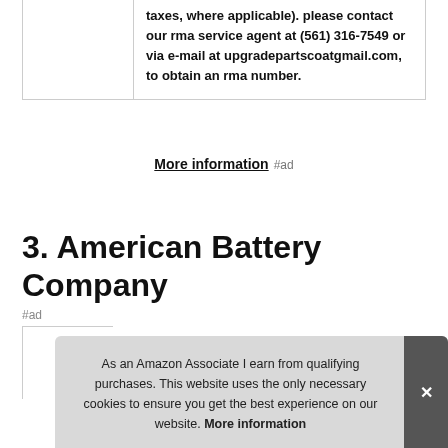|  | taxes, where applicable). please contact our rma service agent at (561) 316-7549 or via e-mail at upgradepartscoatgmail.com, to obtain an rma number. |
More information #ad
3. American Battery Company
#ad
As an Amazon Associate I earn from qualifying purchases. This website uses the only necessary cookies to ensure you get the best experience on our website. More information